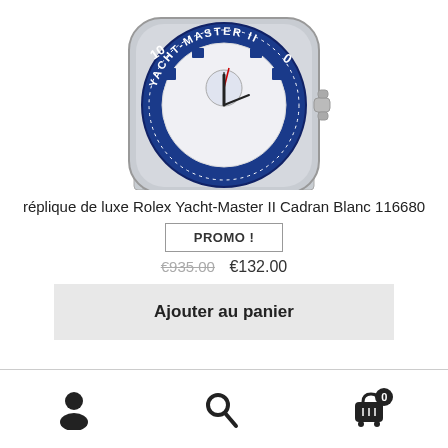[Figure (photo): Close-up photo of a Rolex Yacht-Master II watch with blue bezel, white dial, and steel bracelet]
réplique de luxe Rolex Yacht-Master II Cadran Blanc 116680
PROMO !
€935.00  €132.00
Ajouter au panier